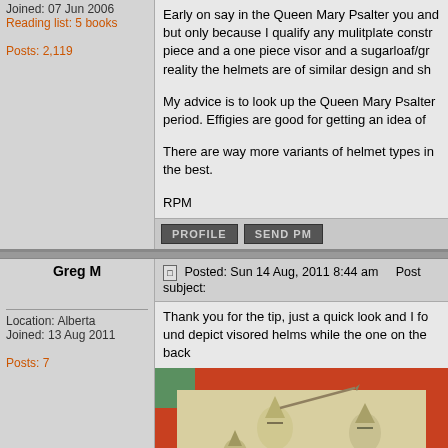Joined: 07 Jun 2006
Reading list: 5 books
Posts: 2,119
Early on say in the Queen Mary Psalter you a... but only because I qualify any mulitplate constr... piece and a one piece visor and a sugarloaf/gr... reality the helmets are of similar design and sh...
My advice is to look up the Queen Mary Psalte... period. Effigies are good for getting an idea of
There are way more variants of helmet types i... the best.
RPM
PROFILE   SEND PM
Greg M
Posted: Sun 14 Aug, 2011 8:44 am   Post subject:
Location: Alberta
Joined: 13 Aug 2011
Posts: 7
Thank you for the tip, just a quick look and I fo... depict visored helms while the one on the bacl...
[Figure (illustration): Medieval manuscript illustration showing knights with helmets, on a red and green bordered background]